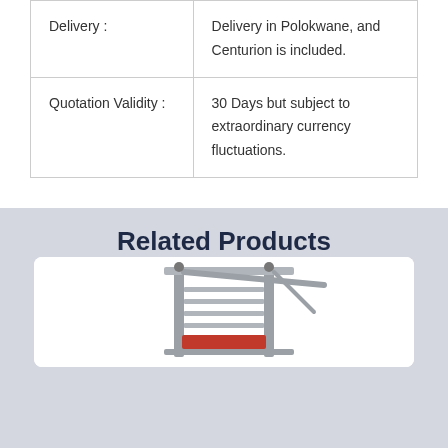| Delivery : | Delivery in Polokwane, and Centurion is included. |
| Quotation Validity : | 30 Days but subject to extraordinary currency fluctuations. |
Related Products
[Figure (photo): Product image of a metal barrier/gate with red and grey components on a white card background]